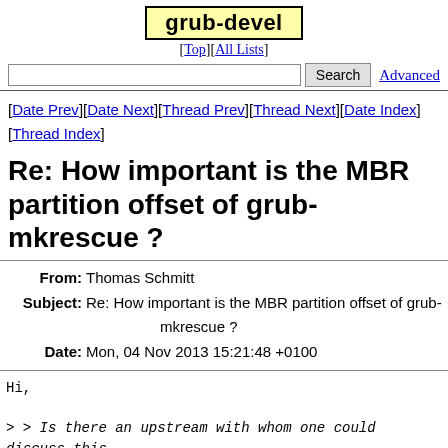grub-devel
[Top][All Lists]
Search  Advanced
[Date Prev][Date Next][Thread Prev][Thread Next][Date Index][Thread Index]
Re: How important is the MBR partition offset of grub-mkrescue ?
| Field | Value |
| --- | --- |
| From | Thomas Schmitt |
| Subject | Re: How important is the MBR partition offset of grub-mkrescue ? |
| Date | Mon, 04 Nov 2013 15:21:48 +0100 |
Hi,

> > Is there an upstream with whom one could discuss this
> Yes. It was on Cc on my message; you removed it.

Sorry. I did not notice and did not copy it.
I'll subscribe there and post a short version of my prev